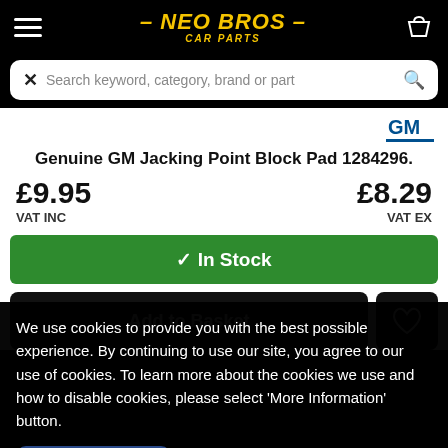— NEO BROS — CAR PARTS
Search keyword, category, brand or part
Genuine GM Jacking Point Block Pad 1284296.
£9.95 VAT INC   £8.29 VAT EX
✓ In Stock
Add to Basket
We use cookies to provide you with the best possible experience. By continuing to use our site, you agree to our use of cookies. To learn more about the cookies we use and how to disable cookies, please select 'More Information' button.
✓ ACCEPT
MORE INFORMATION ▶